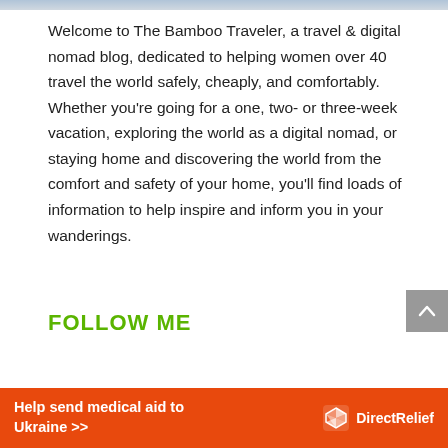[Figure (photo): Partial top strip of a photo, cropped at the top edge of the page]
Welcome to The Bamboo Traveler, a travel & digital nomad blog, dedicated to helping women over 40 travel the world safely, cheaply, and comfortably. Whether you're going for a one, two- or three-week vacation, exploring the world as a digital nomad, or staying home and discovering the world from the comfort and safety of your home, you'll find loads of information to help inspire and inform you in your wanderings.
FOLLOW ME
SUBSCRIBE
[Figure (infographic): Orange banner advertisement reading 'Help send medical aid to Ukraine >>' with Direct Relief logo on the right]